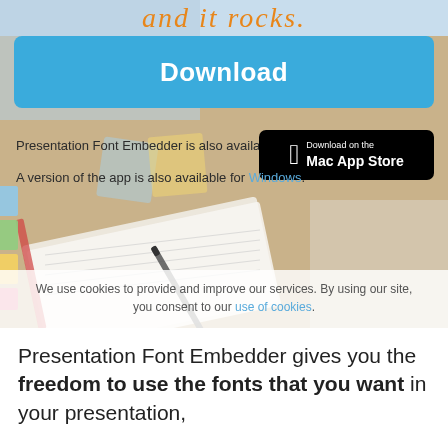[Figure (photo): Screenshot of a website showing a 'Download' button on a blurred background of a desk with notebook, pen, and colored sticky notes]
Download
[Figure (logo): Download on the Mac App Store badge]
Presentation Font Embedder is also available on the
A version of the app is also available for Windows.
We use cookies to provide and improve our services. By using our site, you consent to our use of cookies.
Presentation Font Embedder gives you the freedom to use the fonts that you want in your presentation,